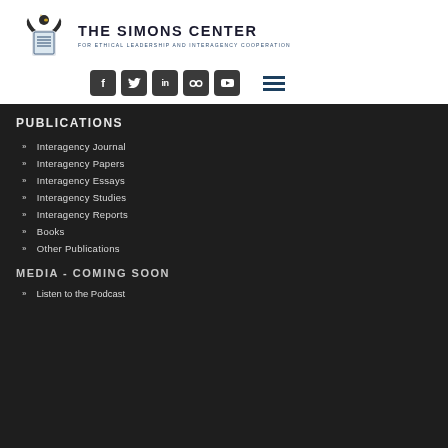[Figure (logo): The Simons Center for Ethical Leadership and Interagency Cooperation logo with eagle crest]
[Figure (infographic): Social media icons: Facebook, Twitter, LinkedIn, Flickr, YouTube buttons and hamburger menu icon]
PUBLICATIONS
Interagency Journal
Interagency Papers
Interagency Essays
Interagency Studies
Interagency Reports
Books
Other Publications
MEDIA - COMING SOON
Listen to the Podcast